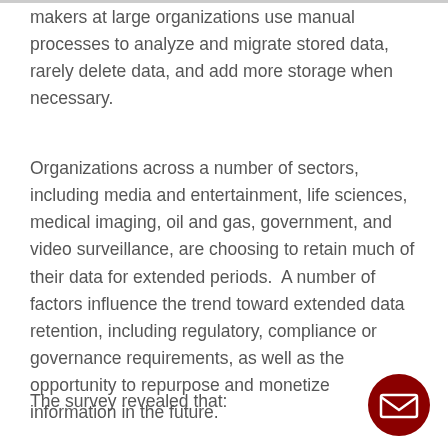makers at large organizations use manual processes to analyze and migrate stored data, rarely delete data, and add more storage when necessary.
Organizations across a number of sectors, including media and entertainment, life sciences, medical imaging, oil and gas, government, and video surveillance, are choosing to retain much of their data for extended periods.  A number of factors influence the trend toward extended data retention, including regulatory, compliance or governance requirements, as well as the opportunity to repurpose and monetize information in the future.
The survey revealed that: